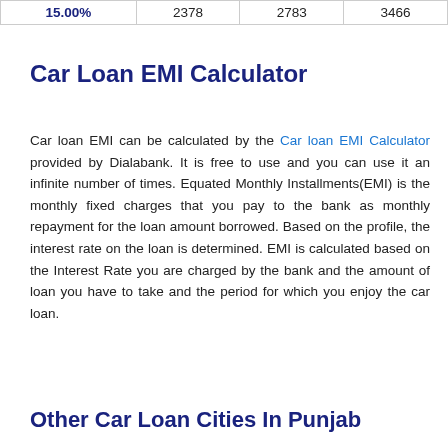| 15.00% | 2378 | 2783 | 3466 |
Car Loan EMI Calculator
Car loan EMI can be calculated by the Car loan EMI Calculator provided by Dialabank. It is free to use and you can use it an infinite number of times. Equated Monthly Installments(EMI) is the monthly fixed charges that you pay to the bank as monthly repayment for the loan amount borrowed. Based on the profile, the interest rate on the loan is determined. EMI is calculated based on the Interest Rate you are charged by the bank and the amount of loan you have to take and the period for which you enjoy the car loan.
Other Car Loan Cities In Punjab